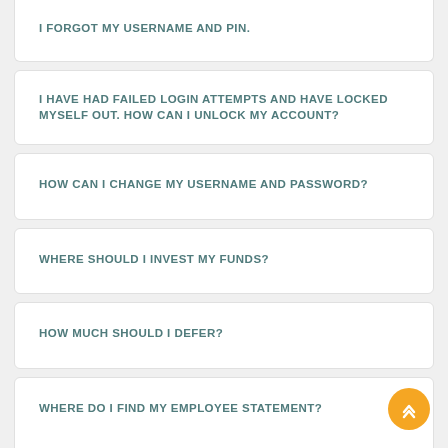I FORGOT MY USERNAME AND PIN.
I HAVE HAD FAILED LOGIN ATTEMPTS AND HAVE LOCKED MYSELF OUT. HOW CAN I UNLOCK MY ACCOUNT?
HOW CAN I CHANGE MY USERNAME AND PASSWORD?
WHERE SHOULD I INVEST MY FUNDS?
HOW MUCH SHOULD I DEFER?
WHERE DO I FIND MY EMPLOYEE STATEMENT?